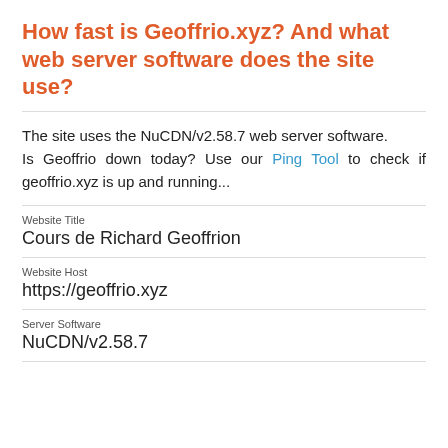How fast is Geoffrio.xyz? And what web server software does the site use?
The site uses the NuCDN/v2.58.7 web server software.
Is Geoffrio down today? Use our Ping Tool to check if geoffrio.xyz is up and running...
| Website Title | Cours de Richard Geoffrion |
| Website Host | https://geoffrio.xyz |
| Server Software | NuCDN/v2.58.7 |